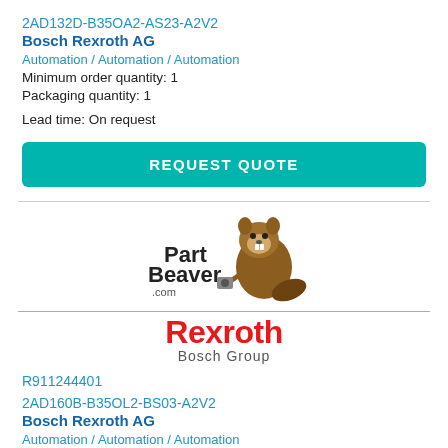2AD132D-B35OA2-AS23-A2V2
Bosch Rexroth AG
Automation / Automation / Automation
Minimum order quantity: 1
Packaging quantity: 1
Lead time: On request
REQUEST QUOTE
[Figure (logo): PartBeaver.com logo with beaver mascot holding parts]
[Figure (logo): Rexroth Bosch Group logo in red and grey]
R911244401
2AD160B-B35OL2-BS03-A2V2
Bosch Rexroth AG
Automation / Automation / Automation
Minimum order quantity: 1
Packaging quantity: 1